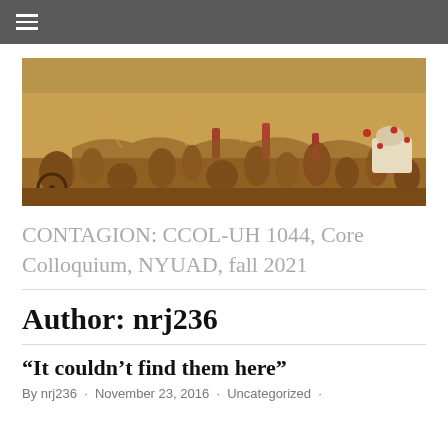☰ (navigation menu)
[Figure (illustration): A wide panoramic painting depicting a chaotic medieval battle or plague scene with many figures, horses, carts, and warm earthy tones — likely Bruegel's Triumph of Death.]
CONTAGION: CCOL-UH 1044, Core Colloquium, NYUAD, fall 2021
Author: nrj236
“It couldn’t find them here”
By nrj236 · November 23, 2016 · Uncategorized ·